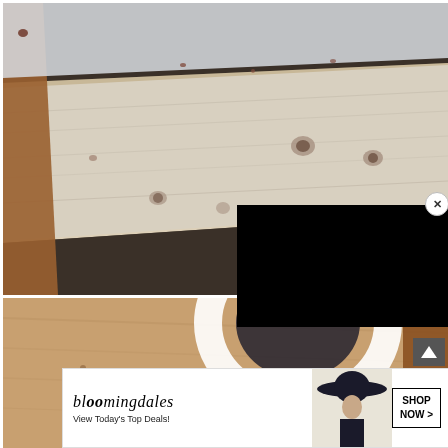[Figure (photo): Close-up photograph of weathered white painted wooden deck boards with visible knots and nail holes, shot at an angle showing dark gaps between boards and brown wooden frame edges]
[Figure (photo): Close-up photograph of natural wood plank surface (light tan/orange wood grain) with a white circular bowl or cup partially visible, shot at an angle]
[Figure (screenshot): Black rectangle overlay representing a video player or advertisement overlay on top of the bottom photo]
×
CLOSE
[Figure (screenshot): Bloomingdale's advertisement banner reading 'bloomingdales View Today's Top Deals!' with an image of a woman in a wide-brim hat and a 'SHOP NOW >' button]